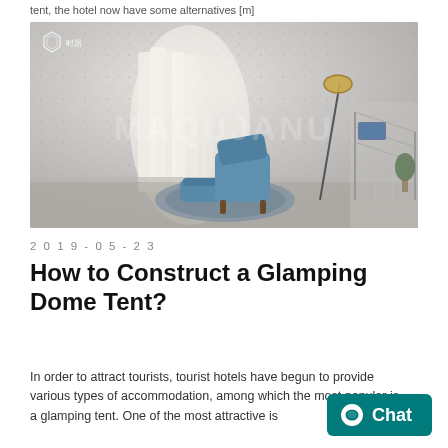tent, the hotel now have some alternatives [m]
[Figure (photo): Interior of a glamping dome tent with white quilted walls, blue lounge chair and ottoman on a round rug, floor lamp, sheer curtains, and a watermark reading MAQUJANU. A small logo is visible in the top left corner.]
2019-05-23
How to Construct a Glamping Dome Tent?
In order to attract tourists, tourist hotels have begun to provide various types of accommodation, among which the most popular is a glamping tent. One of the most attractive is